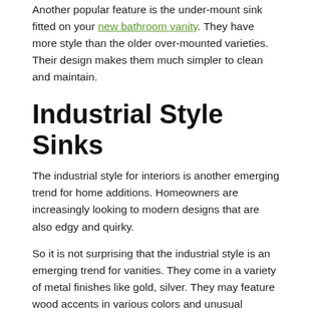Another popular feature is the under-mount sink fitted on your new bathroom vanity. They have more style than the older over-mounted varieties. Their design makes them much simpler to clean and maintain.
Industrial Style Sinks
The industrial style for interiors is another emerging trend for home additions. Homeowners are increasingly looking to modern designs that are also edgy and quirky.
So it is not surprising that the industrial style is an emerging trend for vanities. They come in a variety of metal finishes like gold, silver. They may feature wood accents in various colors and unusual patterns for furnishings and fittings.
Bottom-Line
The overriding trend for bathroom remodeling projects is minimalist design. The open shelves and vessel sinks can make your interior feel larger; radiating a spa-like feel. When installing new bathroom vanity, consider the arrangement and choice of the space and how it may relate to future trends.